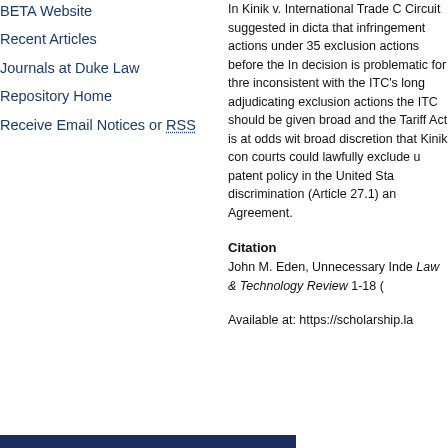BETA Website
Recent Articles
Journals at Duke Law
Repository Home
Receive Email Notices or RSS
In Kinik v. International Trade C... Circuit suggested in dicta that infringement actions under 35 exclusion actions before the In decision is problematic for thre inconsistent with the ITC's long adjudicating exclusion actions the ITC should be given broad and the Tariff Act is at odds wit broad discretion that Kinik con courts could lawfully exclude u patent policy in the United Sta discrimination (Article 27.1) an Agreement.
Citation
John M. Eden, Unnecessary Inde Law & Technology Review 1-18 (
Available at: https://scholarship.la